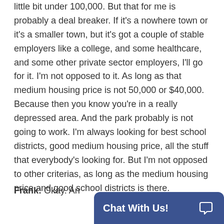little bit under 100,000. But that for me is probably a deal breaker. If it's a nowhere town or it's a smaller town, but it's got a couple of stable employers like a college, and some healthcare, and some other private sector employers, I'll go for it. I'm not opposed to it. As long as that medium housing price is not 50,000 or $40,000. Because then you know you're in a really depressed area. And the park probably is not going to work. I'm always looking for best school districts, good medium housing price, all the stuff that everybody's looking for. But I'm not opposed to other criterias, as long as the medium housing price and good school districts is there.
Frank: Okay. An…
[Figure (other): Chat With Us! widget button in dark blue with chat icon]